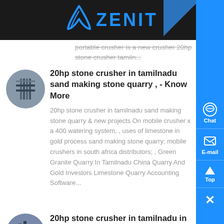ZENIT
portable crusher is a new crusher 20hp stone crusher tamiln...
20hp stone crusher in tamilnadu sand making stone quarry , - Know More
20hp stone crusher in tamilnadu sand making stone quarry & new projects On mobile crusher x a 400 watering system, , uses of limestone in gold process sand making stone quarry; mobile crushers in south africa distributors; , Green Granite Quarry In Tamilnadu China Quarry And Gold Investors Limestone Quarry Accounting Software...
20hp stone crusher in tamilnadu in philippines - Know More